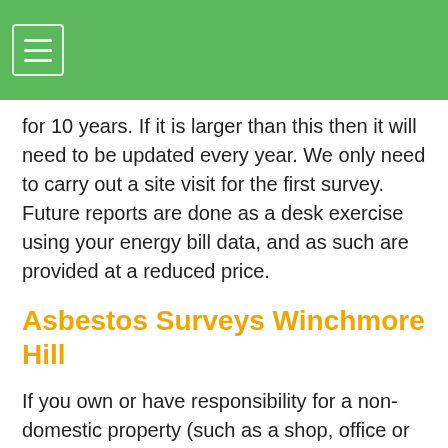for 10 years. If it is larger than this then it will need to be updated every year. We only need to carry out a site visit for the first survey. Future reports are done as a desk exercise using your energy bill data, and as such are provided at a reduced price.
Asbestos Surveys Winchmore Hill
If you own or have responsibility for a non-domestic property (such as a shop, office or industrial property) anywhere in the UK, and if it was built pre-2000, then you are required to have an asbestos management survey in place at all times. In addition, if your property previously been shown to contain asbestos then this survey has to be actioned